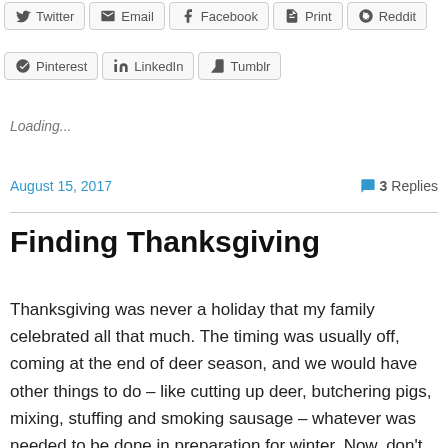Twitter  Email  Facebook  Print  Reddit
Pinterest  LinkedIn  Tumblr
Loading...
August 15, 2017    3 Replies
Finding Thanksgiving
Thanksgiving was never a holiday that my family celebrated all that much. The timing was usually off, coming at the end of deer season, and we would have other things to do – like cutting up deer, butchering pigs, mixing, stuffing and smoking sausage – whatever was needed to be done in preparation for winter. Now, don't get